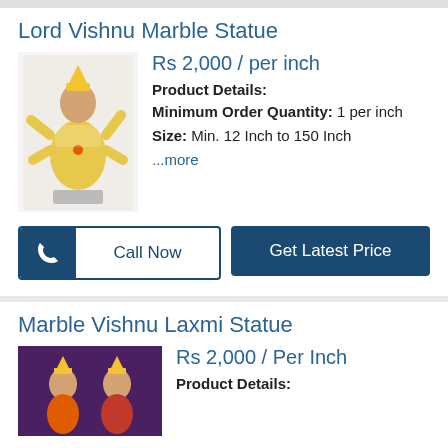Lord Vishnu Marble Statue
Rs 2,000 / per inch
Product Details:
Minimum Order Quantity: 1 per inch
Size: Min. 12 Inch to 150 Inch
...more
Call Now
Get Latest Price
Marble Vishnu Laxmi Statue
Rs 2,000 / Per Inch
Product Details: